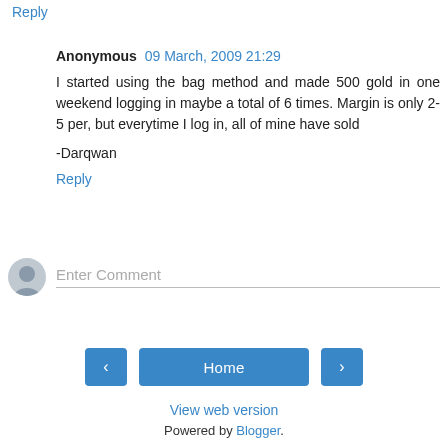Reply
Anonymous  09 March, 2009 21:29
I started using the bag method and made 500 gold in one weekend logging in maybe a total of 6 times. Margin is only 2-5 per, but everytime I log in, all of mine have sold

-Darqwan
Reply
Enter Comment
Home
View web version
Powered by Blogger.